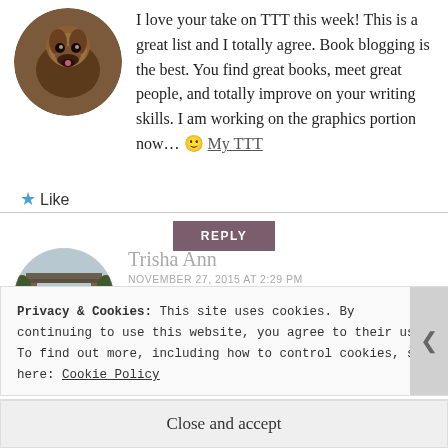[Figure (photo): Circular avatar photo of a dog (brown/black, possibly a Boxer or similar breed)]
I love your take on TTT this week! This is a great list and I totally agree. Book blogging is the best. You find great books, meet great people, and totally improve on your writing skills. I am working on the graphics portion now... 🙂 My TTT
★ Like
REPLY
[Figure (photo): Circular avatar photo of Trisha Ann standing in front of a Japanese gate/temple scene]
Trisha Ann
NOVEMBER 27, 2015 AT 2:29 PM
Thank youuuuu! 😀
Well that makes two of us on this Journey to
Privacy & Cookies: This site uses cookies. By continuing to use this website, you agree to their use.
To find out more, including how to control cookies, see here: Cookie Policy
Close and accept